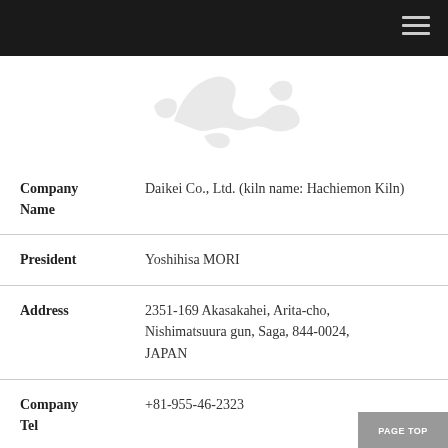[Figure (illustration): Light grey silhouette map of Japan (partial), showing the island outline against a white background]
| Company Name | Daikei Co., Ltd. (kiln name: Hachiemon Kiln) |
| President | Yoshihisa MORI |
| Address | 2351-169 Akasakahei, Arita-cho, Nishimatsuura gun, Saga, 844-0024, JAPAN |
| Company Tel | +81-955-46-2323 |